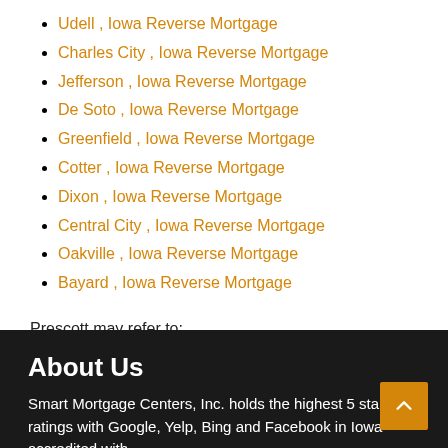Udell , Iowa Reverse Mortgage
Charles City , Iowa Reverse Mortgage
Jefferson , Iowa Reverse Mortgage
De Soto , Iowa Reverse Mortgage
Greenfield , Iowa Reverse Mortgage
Cotter , Iowa Reverse Mortgage
Dixon , Iowa Reverse Mortgage
Central City , Iowa Reverse Mortgage
Oakville , Iowa Reverse Mortgage
Bayard , Iowa Reverse Mortgage
Prescott may refer to:
About Us
Smart Mortgage Centers, Inc. holds the highest 5 star ratings with Google, Yelp, Bing and Facebook in Iowa accredited with...